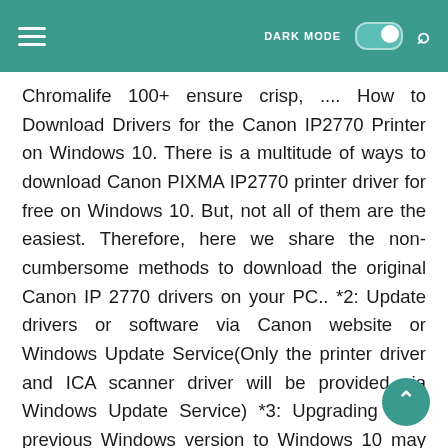DARK MODE [toggle] [search]
Chromalife 100+ ensure crisp, .... How to Download Drivers for the Canon IP2770 Printer on Windows 10. There is a multitude of ways to download Canon PIXMA IP2770 printer driver for free on Windows 10. But, not all of them are the easiest. Therefore, here we share the non-cumbersome methods to download the original Canon IP 2770 drivers on your PC.. *2: Update drivers or software via Canon website or Windows Update Service(Only the printer driver and ICA scanner driver will be provided via Windows Update Service) *3: Upgrading from previous Windows version to Windows 10 may result in Printer / Scanner software or driver not working properly.To proceed with printing / scanning, uninstall .... After you upgrade your computer to Windows 10, if your Canon Printer Drivers are not working, you can fix the problem by updating the drivers. Canon IP2770 Pixma Printer